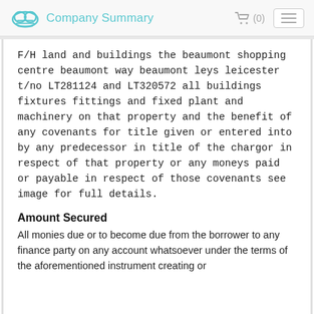Company Summary
F/H land and buildings the beaumont shopping centre beaumont way beaumont leys leicester t/no LT281124 and LT320572 all buildings fixtures fittings and fixed plant and machinery on that property and the benefit of any covenants for title given or entered into by any predecessor in title of the chargor in respect of that property or any moneys paid or payable in respect of those covenants see image for full details.
Amount Secured
All monies due or to become due from the borrower to any finance party on any account whatsoever under the terms of the aforementioned instrument creating or